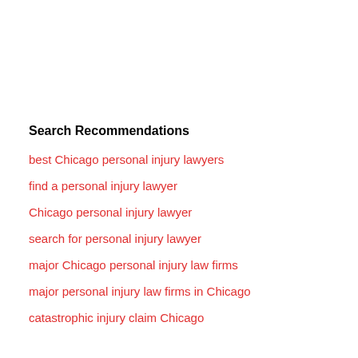Search Recommendations
best Chicago personal injury lawyers
find a personal injury lawyer
Chicago personal injury lawyer
search for personal injury lawyer
major Chicago personal injury law firms
major personal injury law firms in Chicago
catastrophic injury claim Chicago